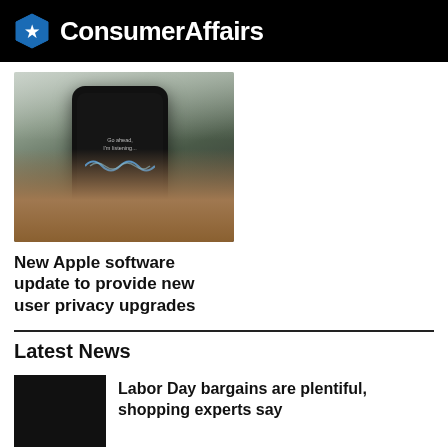ConsumerAffairs
[Figure (photo): A hand holding a smartphone displaying the Siri voice assistant interface with the text 'Go ahead, I'm listening...']
New Apple software update to provide new user privacy upgrades
Latest News
[Figure (photo): Thumbnail image for Labor Day bargains article]
Labor Day bargains are plentiful, shopping experts say